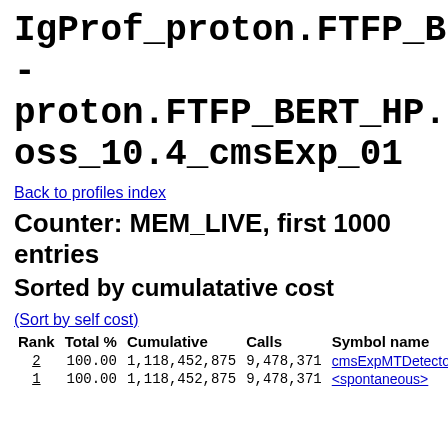IgProf_proton.FTFP_BERT_H - proton.FTFP_BERT_HP.1.4, oss_10.4_cmsExp_01
Back to profiles index
Counter: MEM_LIVE, first 1000 entries
Sorted by cumulatative cost
(Sort by self cost)
| Rank | Total % | Cumulative | Calls | Symbol name |
| --- | --- | --- | --- | --- |
| 2 | 100.00 | 1,118,452,875 | 9,478,371 | cmsExpMTDetecto |
| 1 | 100.00 | 1,118,452,875 | 9,478,371 | <spontaneous> |